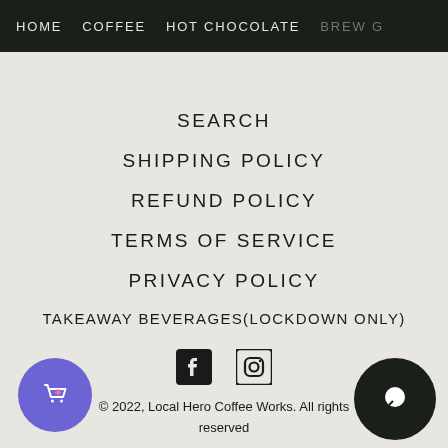HOME   COFFEE   HOT CHOCOLATE   BREW G
SEARCH
SHIPPING POLICY
REFUND POLICY
TERMS OF SERVICE
PRIVACY POLICY
TAKEAWAY BEVERAGES(LOCKDOWN ONLY)
[Figure (other): Facebook and Instagram social media icons]
© 2022, Local Hero Coffee Works. All rights reserved
[Figure (other): Purple shopping bag/wishlist button in bottom left corner]
[Figure (other): Dark chat bubble button in bottom right corner]